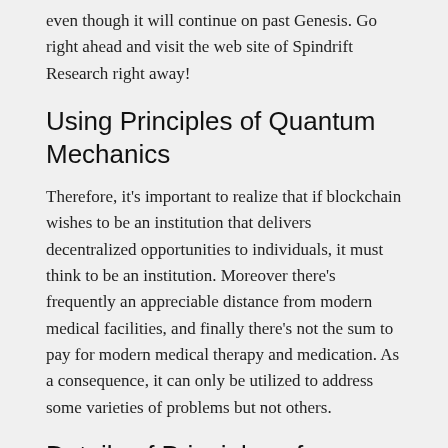even though it will continue on past Genesis. Go right ahead and visit the web site of Spindrift Research right away!
Using Principles of Quantum Mechanics
Therefore, it's important to realize that if blockchain wishes to be an institution that delivers decentralized opportunities to individuals, it must think to be an institution. Moreover there's frequently an appreciable distance from modern medical facilities, and finally there's not the sum to pay for modern medical therapy and medication. As a consequence, it can only be utilized to address some varieties of problems but not others.
Details of Principles of Quantum Mechanics
Other books aren't allowed. The group of puzzles in Quantum Mouse is a superb case of an intricate issue...